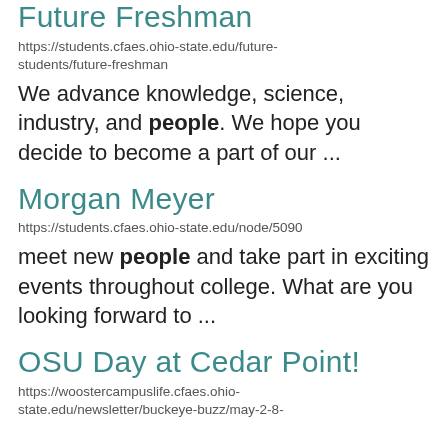Future Freshman
https://students.cfaes.ohio-state.edu/future-students/future-freshman
We advance knowledge, science, industry, and people. We hope you decide to become a part of our ...
Morgan Meyer
https://students.cfaes.ohio-state.edu/node/5090
meet new people and take part in exciting events throughout college. What are you looking forward to ...
OSU Day at Cedar Point!
https://woostercampuslife.cfaes.ohio-state.edu/newsletter/buckeye-buzz/may-2-8-